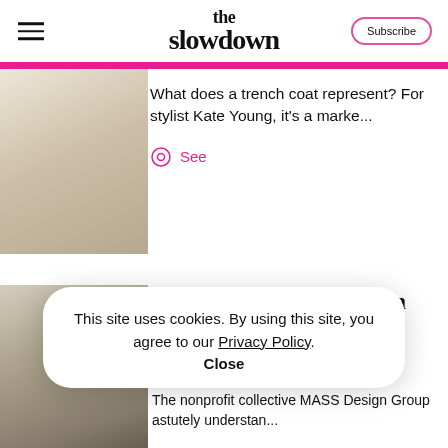the slowdown — Subscribe
What does a trench coat represent? For stylist Kate Young, it's a marke...
See
With Art and Altruism, an Exhibition Explores the Strength and
This site uses cookies. By using this site, you agree to our Privacy Policy. Close
The nonprofit collective MASS Design Group astutely understan...